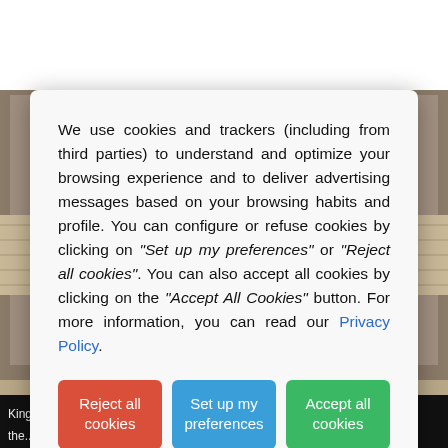[Figure (photo): Background photo of a classical Italian architectural courtyard (likely Capitoline Hill, Rome), with ornate columns and a checkered floor visible. At the bottom, partial text reads 'King Vittorio Emanuele II. Above it stands the Altar of'.]
We use cookies and trackers (including from third parties) to understand and optimize your browsing experience and to deliver advertising messages based on your browsing habits and profile. You can configure or refuse cookies by clicking on "Set up my preferences" or "Reject all cookies". You can also accept all cookies by clicking on the "Accept All Cookies" button. For more information, you can read our Privacy Policy.
Reject all cookies
Set up my preferences
Accept all cookies
King Vittorio Emanuele II. Above it stands the Altar of